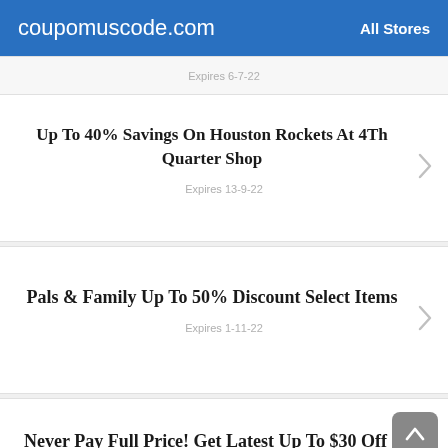coupomuscode.com   All Stores
Expires 6-7-22
Up To 40% Savings On Houston Rockets At 4Th Quarter Shop
Expires 13-9-22
Pals & Family Up To 50% Discount Select Items
Expires 1-11-22
Never Pay Full Price! Get Latest Up To $30 Off Code